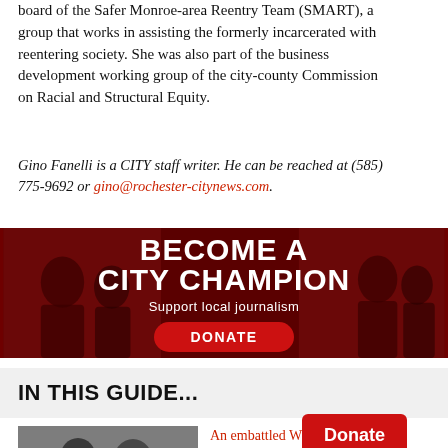board of the Safer Monroe-area Reentry Team (SMART), a group that works in assisting the formerly incarcerated with reentering society. She was also part of the business development working group of the city-county Commission on Racial and Structural Equity.
Gino Fanelli is a CITY staff writer. He can be reached at (585) 775-9692 or gino@rochester-citynews.com.
[Figure (infographic): Red banner ad with dark background showing people, text 'BECOME A CITY CHAMPION', 'Support local journalism', and a red DONATE button]
IN THIS GUIDE...
[Figure (photo): Black and white photo of two people, a man and a woman]
An embattled W faces a may e from Evans
[Figure (other): Red Donate popup button overlay]